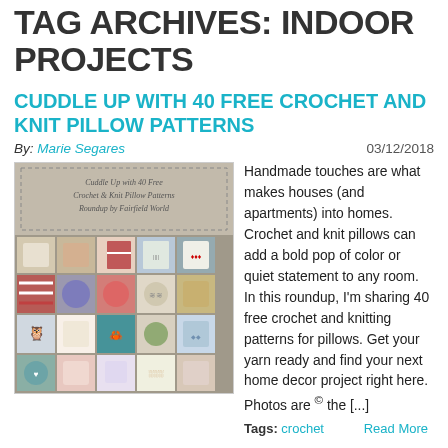TAG ARCHIVES: INDOOR PROJECTS
CUDDLE UP WITH 40 FREE CROCHET AND KNIT PILLOW PATTERNS
By: Marie Segares   03/12/2018
[Figure (photo): Collage of crochet and knit pillow patterns with title 'Cuddle Up with 40 Free Crochet & Knit Pillow Patterns Roundup by Fairfield World']
Handmade touches are what makes houses (and apartments) into homes. Crochet and knit pillows can add a bold pop of color or quiet statement to any room. In this roundup, I'm sharing 40 free crochet and knitting patterns for pillows. Get your yarn ready and find your next home decor project right here. Photos are © the [...]
Tags: crochet   Read More